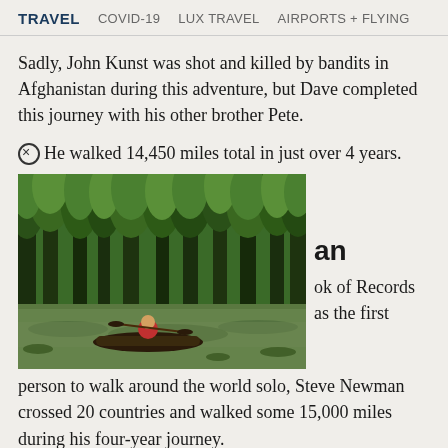TRAVEL  COVID-19  LUX TRAVEL  AIRPORTS + FLYING
Sadly, John Kunst was shot and killed by bandits in Afghanistan during this adventure, but Dave completed this journey with his other brother Pete.
He walked 14,450 miles total in just over 4 years.
[Figure (photo): Person in a canoe paddling through a lush green wetland or swamp with tall trees reflected in still water]
an
ok of Records as the first person to walk around the world solo, Steve Newman crossed 20 countries and walked some 15,000 miles during his four-year journey.